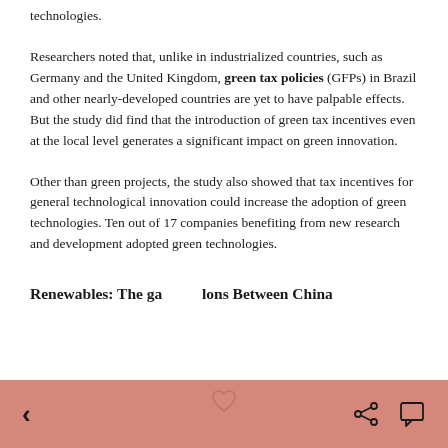technologies.
Researchers noted that, unlike in industrialized countries, such as Germany and the United Kingdom, green tax policies (GFPs) in Brazil and other nearly-developed countries are yet to have palpable effects. But the study did find that the introduction of green tax incentives even at the local level generates a significant impact on green innovation.
Other than green projects, the study also showed that tax incentives for general technological innovation could increase the adoption of green technologies. Ten out of 17 companies benefiting from new research and development adopted green technologies.
Renewables: The gap Between China
< ♡ share comment